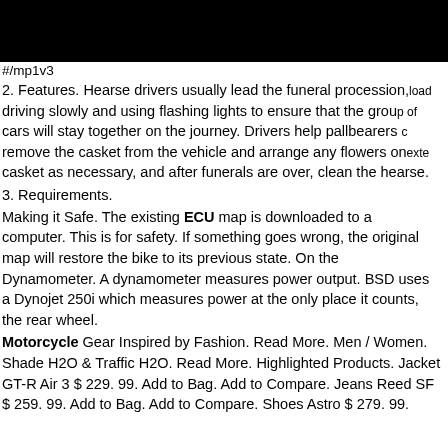#/mp1v3
2. Features. Hearse drivers usually lead the funeral procession, load driving slowly and using flashing lights to ensure that the group of cars will stay together on the journey. Drivers help pallbearers c remove the casket from the vehicle and arrange any flowers on the casket as necessary, and after funerals are over, clean the hearse.
3. Requirements.
Making it Safe. The existing ECU map is downloaded to a computer. This is for safety. If something goes wrong, the original map will restore the bike to its previous state. On the Dynamometer. A dynamometer measures power output. BSD uses a Dynojet 250i which measures power at the only place it counts, the rear wheel.
Motorcycle Gear Inspired by Fashion. Read More. Men / Women. Shade H2O & Traffic H2O. Read More. Highlighted Products. Jacket GT-R Air 3 $ 229. 99. Add to Bag. Add to Compare. Jeans Reed SF $ 259. 99. Add to Bag. Add to Compare. Shoes Astro $ 279. 99.